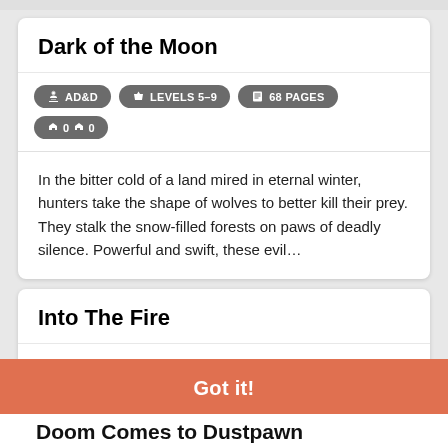Dark of the Moon
AD&D  LEVELS 5–9  68 PAGES  0  0
In the bitter cold of a land mired in eternal winter, hunters take the shape of wolves to better kill their prey. They stalk the snow-filled forests on paws of deadly silence. Powerful and swift, these evil…
Into The Fire
This website uses cookies to ensure you get the best experience on our website.
Learn more
Got it!
Doom Comes to Dustpawn